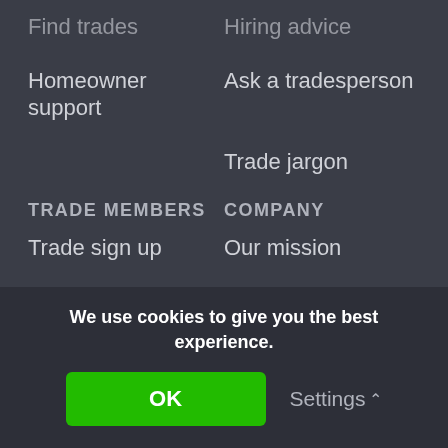Find trades
Hiring advice
Homeowner support
Ask a tradesperson
Trade jargon
TRADE MEMBERS
COMPANY
Trade sign up
Our mission
Trade academy
Testimonials
Completed jobs
Careers
Recent feedback
Contact us
Tradesperson support
Blog
We use cookies to give you the best experience.
OK
Settings